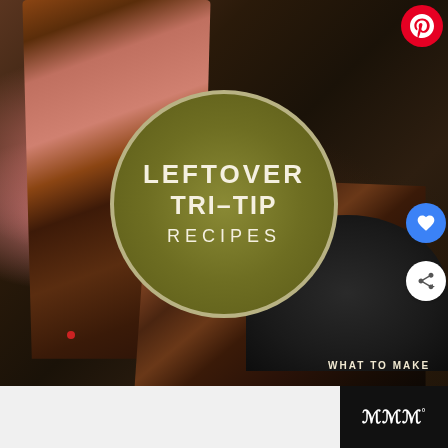[Figure (photo): Close-up photo of sliced grilled tri-tip steak with a charred exterior and pink interior, arranged on a dark surface/plate. An olive/sage green circular badge overlay in the center reads 'LEFTOVER TRI-TIP RECIPES'. UI elements visible: Pinterest button (top right), blue heart/like button with count '46' (right side), share button (right side). Bottom text reads 'WHAT TO MAKE'. Bottom bar shows a white area and a dark section with a logo.]
LEFTOVER TRI-TIP RECIPES
WHAT TO MAKE
46